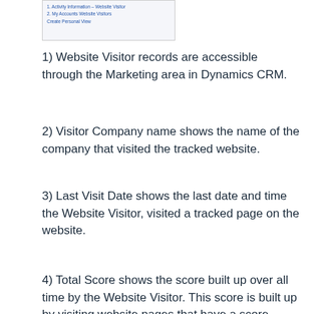[Figure (screenshot): Screenshot of a navigation menu showing items: 1. Activity Information – Website Visitor, 2. My Accounts Website Visitors, Create Personal View]
1) Website Visitor records are accessible through the Marketing area in Dynamics CRM.
2) Visitor Company name shows the name of the company that visited the tracked website.
3) Last Visit Date shows the last date and time the Website Visitor, visited a tracked page on the website.
4) Total Score shows the score built up over all time by the Website Visitor. This score is built up by visiting website pages that have a score assigned e.g. a blog post may have 1 point and a pricing page may have 8 points.